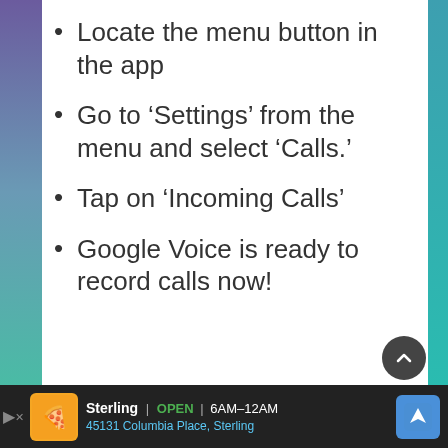Locate the menu button in the app
Go to ‘Settings’ from the menu and select ‘Calls.’
Tap on ‘Incoming Calls’
Google Voice is ready to record calls now!
Sterling OPEN 6AM–12AM | 45131 Columbia Place, Sterling